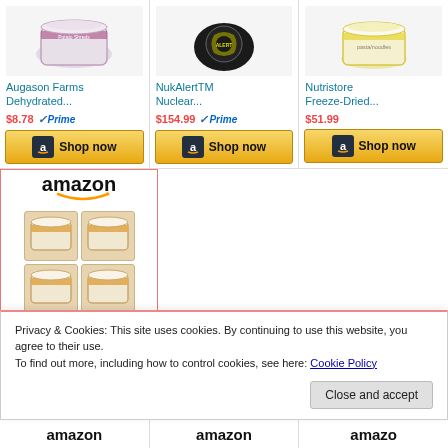[Figure (screenshot): Amazon product listing: Augason Farms Dehydrated... priced at $8.78 with Prime badge and Shop now button]
[Figure (screenshot): Amazon product listing: NukAlertTM Nuclear... priced at $154.99 with Prime badge and Shop now button]
[Figure (screenshot): Amazon product listing: Nutristore Freeze-Dried... priced at $51.99 with Shop now button]
[Figure (screenshot): Amazon widget showing amazon logo and 4 cans of food product in a 2x2 grid]
Privacy & Cookies: This site uses cookies. By continuing to use this website, you agree to their use.
To find out more, including how to control cookies, see here: Cookie Policy
Close and accept
amazon | amazon | amazon